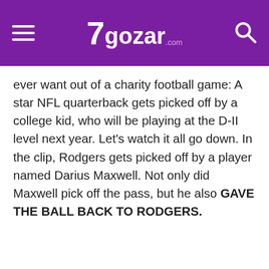7gozar.com
ever want out of a charity football game: A star NFL quarterback gets picked off by a college kid, who will be playing at the D-II level next year. Let's watch it all go down. In the clip, Rodgers gets picked off by a player named Darius Maxwell. Not only did Maxwell pick off the pass, but he also GAVE THE BALL BACK TO RODGERS.